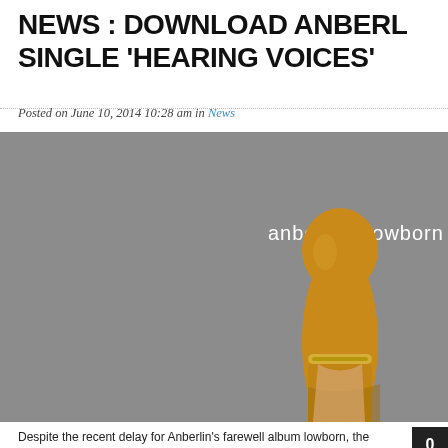NEWS : DOWNLOAD ANBERLIN SINGLE 'HEARING VOICES'
Posted on June 10, 2014 10:28 am in News
[Figure (photo): Album cover for Anberlin's farewell album 'lowborn' — gray background with a golden/amber colored figurine or hand, and white text reading 'anberlin · lowborn']
Despite the recent delay for Anberlin's farewell album lowborn, the band has released a new song 'Hearing Voices' for early download on iTunes. Check it.